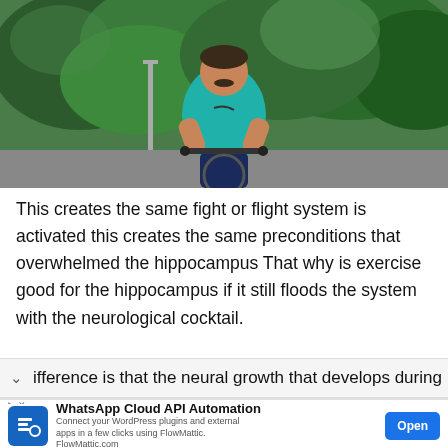[Figure (photo): A middle-aged man wearing a teal/turquoise Nike t-shirt and dark blue pants, riding a bicycle outdoors with green trees in the background.]
This creates the same fight or flight system is activated this creates the same preconditions that overwhelmed the hippocampus That why is exercise good for the hippocampus if it still floods the system with the neurological cocktail.
ifference is that the neural growth that develops during
WhatsApp Cloud API Automation
Connect your WordPress plugins and external apps in a few clicks using FlowMattic.
FlowMattic.com